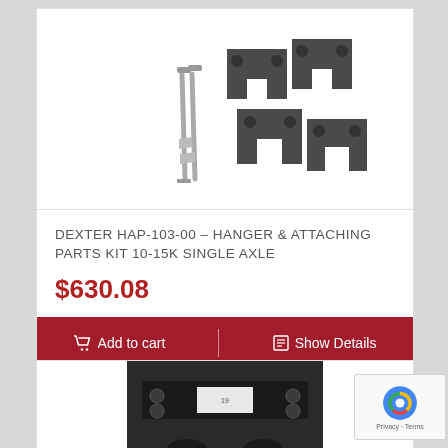[Figure (photo): Hardware kit showing four black U-shaped metal brackets with holes, along with bolts and nuts, arranged on white background — Dexter HAP-103-00 hanger and attaching parts kit]
DEXTER HAP-103-00 – HANGER & ATTACHING PARTS KIT 10-15K SINGLE AXLE
$630.08
Add to cart
Show Details
[Figure (photo): Partial view of a black metal bracket or hanger part with holes, on dark background — bottom of page, cropped]